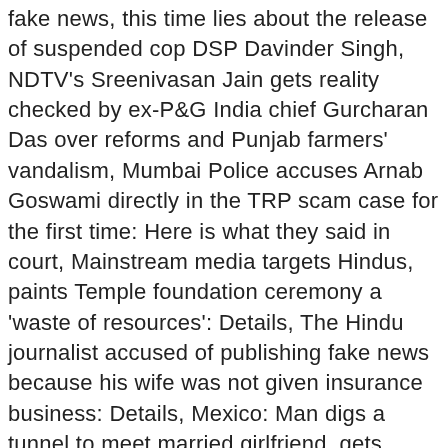fake news, this time lies about the release of suspended cop DSP Davinder Singh, NDTV's Sreenivasan Jain gets reality checked by ex-P&G India chief Gurcharan Das over reforms and Punjab farmers' vandalism, Mumbai Police accuses Arnab Goswami directly in the TRP scam case for the first time: Here is what they said in court, Mainstream media targets Hindus, paints Temple foundation ceremony a 'waste of resources': Details, The Hindu journalist accused of publishing fake news because his wife was not given insurance business: Details, Mexico: Man digs a tunnel to meet married girlfriend, gets caught by husband 'mud-handed', Study by IIT Gandhinagar and Archaeological Department reveals the existence of a three-level structure beneath Somnath temple, Health worker suspended after having gay sex with COVID-19 patient in a hospital toilet in Indonesia, Russian couples protest against COVID-19 restrictions by kissing in packed trains, What happens to someone's Gmail, Facebook and other social media accounts after they die? Farmer protest site, heartless 'trolls ' mock her and her ideology net fire | The compound is very harmful by